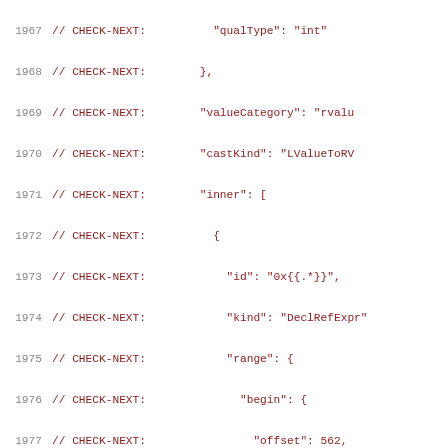Source code listing lines 1967-1988 showing CHECK-NEXT comments with JSON-like AST structure including qualType, valueCategory, castKind, inner, id, kind, range, begin, end, offset, col, tokLen fields.